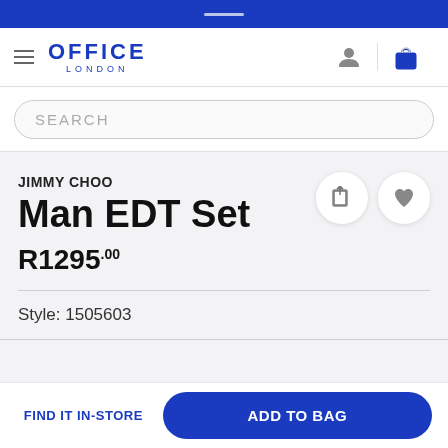[Figure (screenshot): Office London mobile app navigation header with hamburger menu, OFFICE LONDON logo, user icon, and bag icon]
SEARCH
JIMMY CHOO
Man EDT Set
R1295.00
Style: 1505603
FIND IT IN-STORE
ADD TO BAG